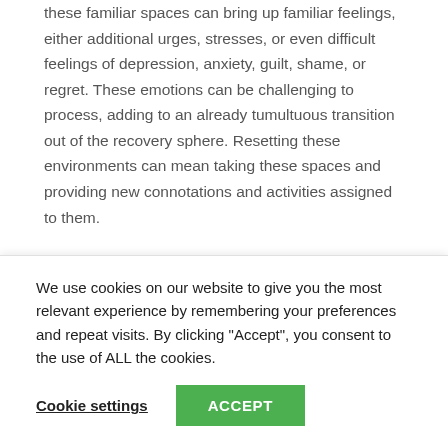these familiar spaces can bring up familiar feelings, either additional urges, stresses, or even difficult feelings of depression, anxiety, guilt, shame, or regret. These emotions can be challenging to process, adding to an already tumultuous transition out of the recovery sphere. Resetting these environments can mean taking these spaces and providing new connotations and activities assigned to them.
For example, one's basement, where one used to drink, can instead be turned into a new art or music studio in order to begin providing a new purpose to the space in a way that is detached from one's
We use cookies on our website to give you the most relevant experience by remembering your preferences and repeat visits. By clicking “Accept”, you consent to the use of ALL the cookies.
Cookie settings
ACCEPT